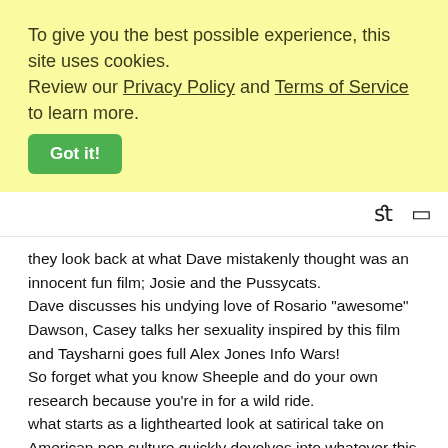To give you the best possible experience, this site uses cookies. Review our Privacy Policy and Terms of Service to learn more.
Got it!
they look back at what Dave mistakenly thought was an innocent fun film; Josie and the Pussycats.
Dave discusses his undying love of Rosario "awesome" Dawson, Casey talks her sexuality inspired by this film and Taysharni goes full Alex Jones Info Wars!
So forget what you know Sheeple and do your own research because you're in for a wild ride.
what starts as a lighthearted look at satirical take on American pop culture quickly devolves into whatever this is.
Listen to us on itunes, Spotify or wherever you get your podcasts.
or direct download the mp3 from the link below:
https://www.buzzsprout.com/186739/9218980-josie-and-the-pussycats-aka-pussycats-and-tinfoil-hats.mp3?download=true